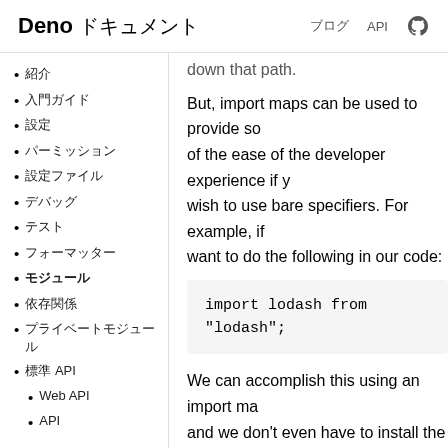Deno ドキュメント
紹介
入門ガイド
設定
パーミッション
設定ファイル
デバッグ
テスト
リンター
フォーマッター
モジュール
依存関係
プライベートモジュール
標準 API
Web API
down that path.
But, import maps can be used to provide some of the ease of the developer experience if you wish to use bare specifiers. For example, if we want to do the following in our code:
import lodash from "lodash";
We can accomplish this using an import map, and we don't even have to install the lodash package locally. We would want to create a JSON file (for example import_map.json) with the following:
{
    "imports": {